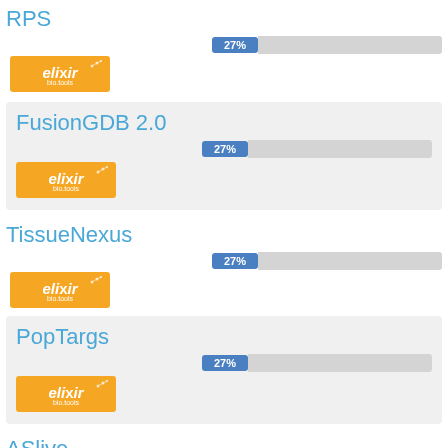RPS
[Figure (bar-chart): RPS]
[Figure (logo): Elixir bio.tools badge orange]
FusionGDB 2.0
[Figure (bar-chart): FusionGDB 2.0]
[Figure (logo): Elixir bio.tools badge orange]
TissueNexus
[Figure (bar-chart): TissueNexus]
[Figure (logo): Elixir bio.tools badge orange]
PopTargs
[Figure (bar-chart): PopTargs]
[Figure (logo): Elixir bio.tools badge orange]
ASlive